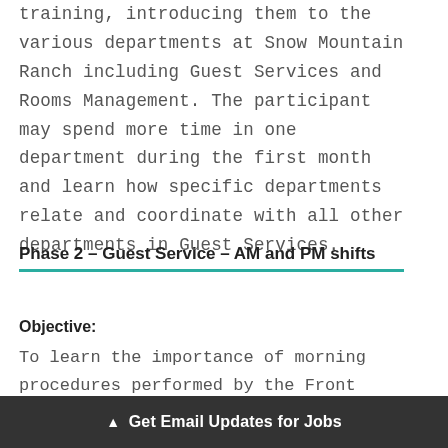training, introducing them to the various departments at Snow Mountain Ranch including Guest Services and Rooms Management. The participant may spend more time in one department during the first month and learn how specific departments relate and coordinate with all other departments in Guest Services.
Phase 2 – Guest Service – AM and PM shifts
Objective:
To learn the importance of morning procedures performed by the Front Desk in
▲ Get Email Updates for Jobs